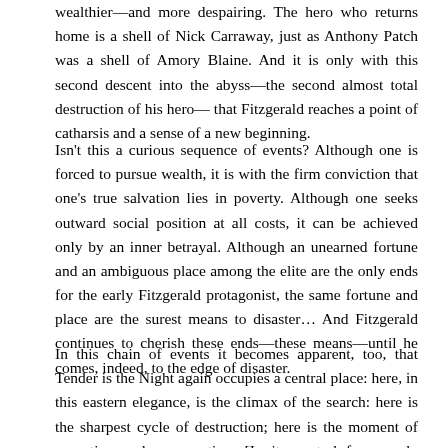wealthier—and more despairing. The hero who returns home is a shell of Nick Carraway, just as Anthony Patch was a shell of Amory Blaine. And it is only with this second descent into the abyss—the second almost total destruction of his hero— that Fitzgerald reaches a point of catharsis and a sense of a new beginning.
Isn't this a curious sequence of events? Although one is forced to pursue wealth, it is with the firm conviction that one's true salvation lies in poverty. Although one seeks outward social position at all costs, it can be achieved only by an inner betrayal. Although an unearned fortune and an ambiguous place among the elite are the only ends for the early Fitzgerald protagonist, the same fortune and place are the surest means to disaster… And Fitzgerald continues to cherish these ends—these means—until he comes, indeed, to the edge of disaster.
In this chain of events it becomes apparent, too, that Tender is the Night again occupies a central place: here, in this eastern elegance, is the climax of the search: here is the sharpest cycle of destruction; here is the moment of purgation and regeneration. [In its central framework, Fitzgerald's career has the elements of a primitive fable. So it is interesting that the process of atonement in Teti-der is the Night should take place near that Geneva scene